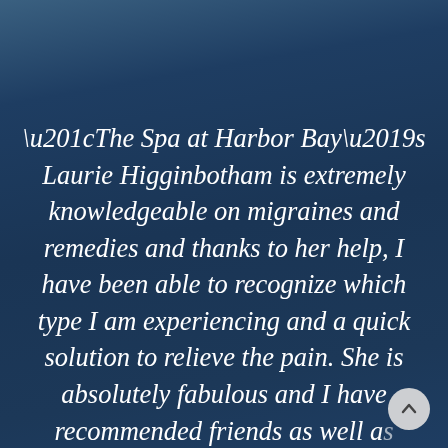“The Spa at Harbor Bay’s Laurie Higginbotham is extremely knowledgeable on migraines and remedies and thanks to her help, I have been able to recognize which type I am experiencing and a quick solution to relieve the pain. She is absolutely fabulous and I have recommended friends as well as strangers to Laurie. As a sufferer